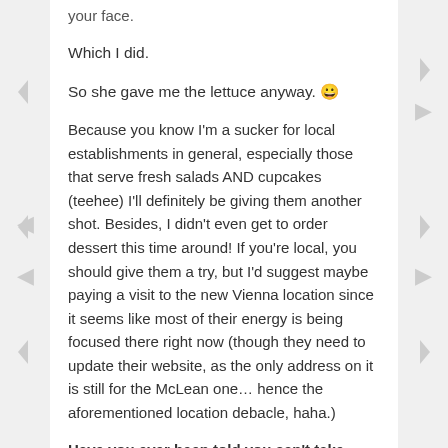your face.
Which I did.
So she gave me the lettuce anyway. 😀
Because you know I'm a sucker for local establishments in general, especially those that serve fresh salads AND cupcakes (teehee) I'll definitely be giving them another shot. Besides, I didn't even get to order dessert this time around! If you're local, you should give them a try, but I'd suggest maybe paying a visit to the new Vienna location since it seems like most of their energy is being focused there right now (though they need to update their website, as the only address on it is still for the McLean one… hence the aforementioned location debacle, haha.)
Have you ever been told you can't take pictures in a restaurant? Since I hardly ever use the flash on